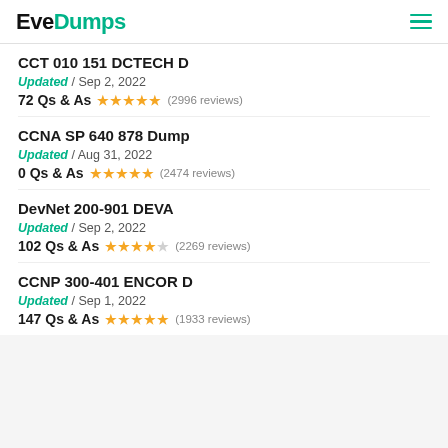EveDumps
CCT 010 151 DCTECH D
Updated / Sep 2, 2022
72 Qs & As ★★★★★ (2996 reviews)
CCNA SP 640 878 Dump
Updated / Aug 31, 2022
0 Qs & As ★★★★★ (2474 reviews)
DevNet 200-901 DEVA
Updated / Sep 2, 2022
102 Qs & As ★★★★☆ (2269 reviews)
CCNP 300-401 ENCOR D
Updated / Sep 1, 2022
147 Qs & As ★★★★★ (1933 reviews)